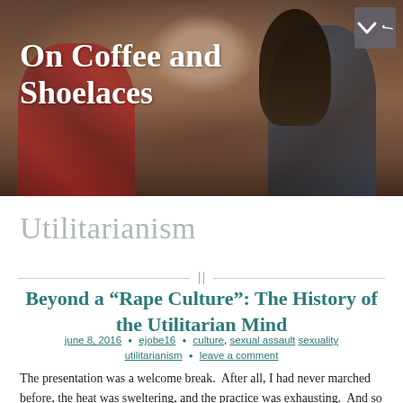[Figure (photo): Header banner photo showing a couple with foreheads touching, smiling. Man in red plaid shirt, woman with long dark hair in dark jacket. Blog title 'On Coffee and Shoelaces' overlaid in white bold serif text on the left.]
On Coffee and Shoelaces
Utilitarianism
Beyond a “Rape Culture”: The History of the Utilitarian Mind
june 8, 2016 • ejobe16 • culture sexual assault sexuality utilitarianism • leave a comment
The presentation was a welcome break.  After all, I had never marched before, the heat was sweltering, and the practice was exhausting.  And so when our schedule for marching band brought us inside after nearly four hours spent drilling, exercising, and rehearsing, I was thrilled.